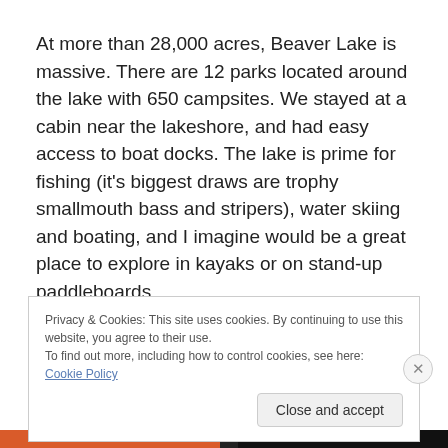At more than 28,000 acres, Beaver Lake is massive. There are 12 parks located around the lake with 650 campsites. We stayed at a cabin near the lakeshore, and had easy access to boat docks. The lake is prime for fishing (it's biggest draws are trophy smallmouth bass and stripers), water skiing and boating, and I imagine would be a great place to explore in kayaks or on stand-up paddleboards.
Privacy & Cookies: This site uses cookies. By continuing to use this website, you agree to their use.
To find out more, including how to control cookies, see here: Cookie Policy